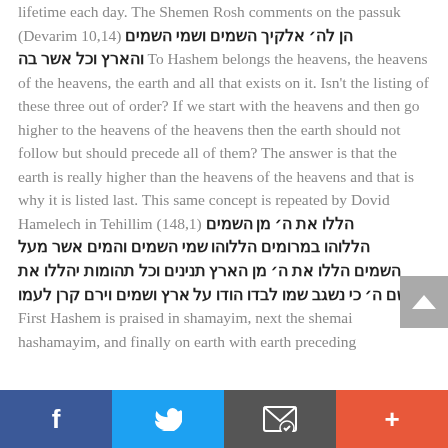lifetime each day. The Shemen Rosh comments on the passuk (Devarim 10,14) הן לה׳ אלקיך השמים ושמי השמים והארץ וכל אשר בה To Hashem belongs the heavens, the heavens of the heavens, the earth and all that exists on it. Isn't the listing of these three out of order? If we start with the heavens and then go higher to the heavens of the heavens then the earth should not follow but should precede all of them? The answer is that the earth is really higher than the heavens of the heavens and that is why it is listed last. This same concept is repeated by Dovid Hamelech in Tehillim (148,1) הללו את ה׳ מן השמים הללוהו במרומים הללוהו שמי השמים והמים אשר מעל השמים הללו את ה׳ מן הארץ תנינים וכל תהומות יהללו את שם ה׳ כי נשגב שמו לבדו הודו על ארץ ושמים וירם קרן לעמו First Hashem is praised in shamayim, next the shemai hashamayim, and finally on earth with earth preceding
[Figure (infographic): Social media footer bar with Facebook (blue), Twitter (light blue), email/share (dark grey), and plus/more (orange-red) buttons]